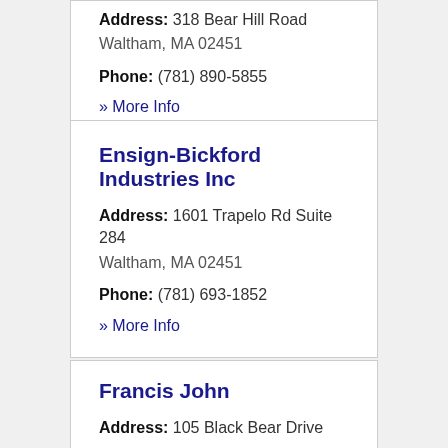Address: 318 Bear Hill Road
Waltham, MA 02451
Phone: (781) 890-5855
» More Info
Ensign-Bickford Industries Inc
Address: 1601 Trapelo Rd Suite 284
Waltham, MA 02451
Phone: (781) 693-1852
» More Info
Francis John
Address: 105 Black Bear Drive